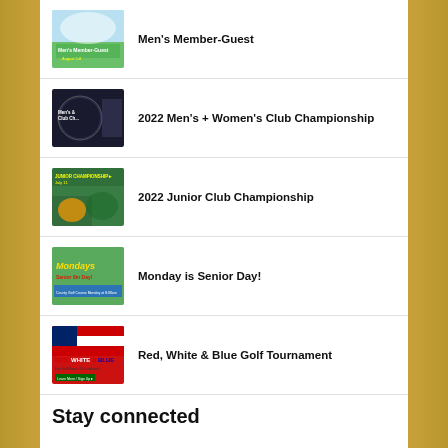Men's Member-Guest
2022 Men's + Women's Club Championship
2022 Junior Club Championship
Monday is Senior Day!
Red, White & Blue Golf Tournament
Stay connected